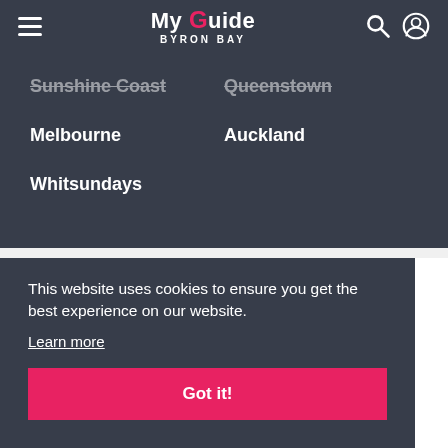My Guide Byron Bay
Sunshine Coast
Queenstown
Melbourne
Auckland
Whitsundays
This website uses cookies to ensure you get the best experience on our website.
Learn more
Got it!